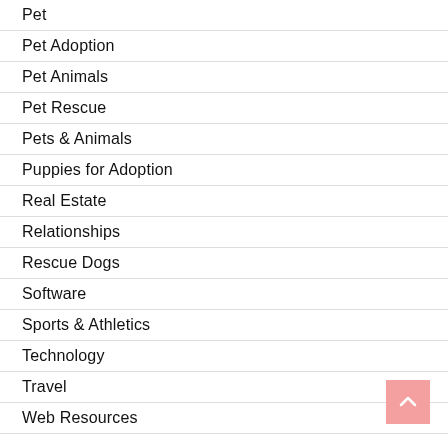Pet
Pet Adoption
Pet Animals
Pet Rescue
Pets & Animals
Puppies for Adoption
Real Estate
Relationships
Rescue Dogs
Software
Sports & Athletics
Technology
Travel
Web Resources